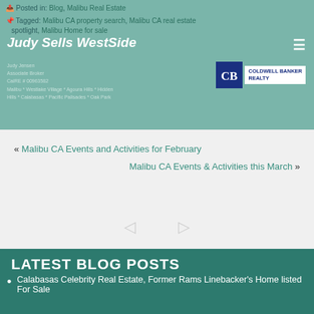Judy Sells WestSide
Posted in: Blog, Malibu Real Estate
Tagged: Malibu CA property search, Malibu CA real estate spotlight, Malibu Home for sale
« Malibu CA Events and Activities for February
Malibu CA Events & Activities this March »
LATEST BLOG POSTS
Calabasas Celebrity Real Estate, Former Rams Linebacker's Home listed For Sale
Malibu CA Events & Activities this March
Malibu CA Real Estate, Time to Sell?
Things to Do in Malibu CA This February